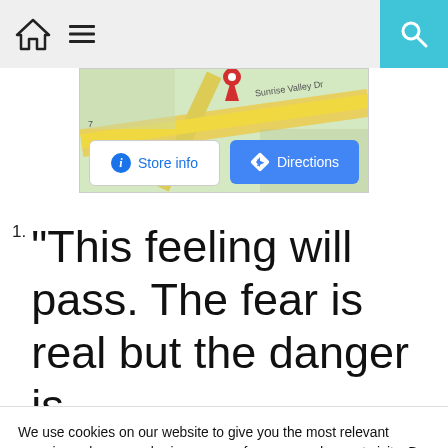Home | Menu | Search
[Figure (map): Google Maps snippet showing a location pin near Sunrise Valley Dr with Store info and Directions buttons]
“This feeling will pass. The fear is real but the danger is
We use cookies on our website to give you the most relevant experience by remembering your preferences and repeat visits. By clicking “Accept”, you consent to the use of ALL the cookies.
Cookie settings   ACCEPT